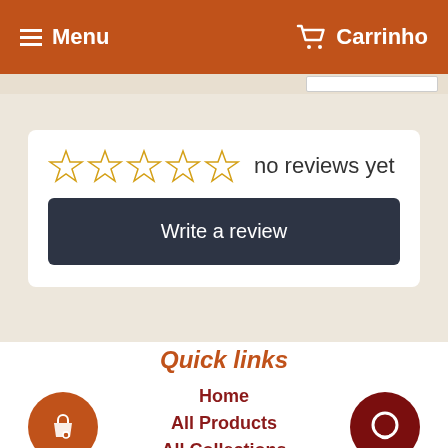Menu   Carrinho
no reviews yet
Write a review
Quick links
Home
All Products
All Collections
Gifts Cards